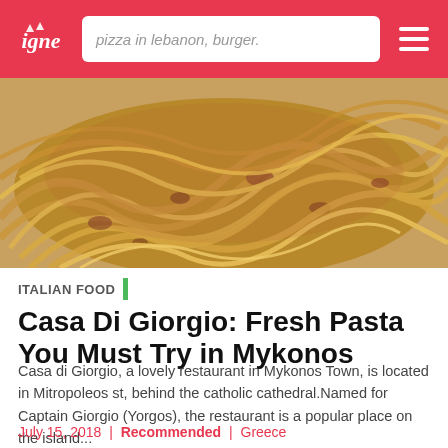pizza in lebanon, burger.
[Figure (photo): Close-up photo of a plate of fresh pasta (spaghetti) with meat sauce, typical Italian pasta dish]
ITALIAN FOOD
Casa Di Giorgio: Fresh Pasta You Must Try in Mykonos
Casa di Giorgio, a lovely restaurant in Mykonos Town, is located in Mitropoleos st, behind the catholic cathedral.Named for Captain Giorgio (Yorgos), the restaurant is a popular place on the island...
July 15, 2018 | Recommended | Greece